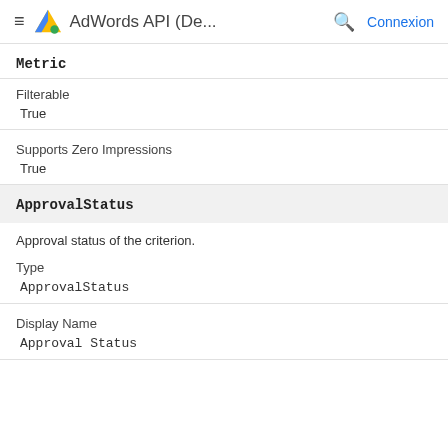AdWords API (De... Connexion
Metric
Filterable
True
Supports Zero Impressions
True
ApprovalStatus
Approval status of the criterion.
Type
ApprovalStatus
Display Name
Approval Status